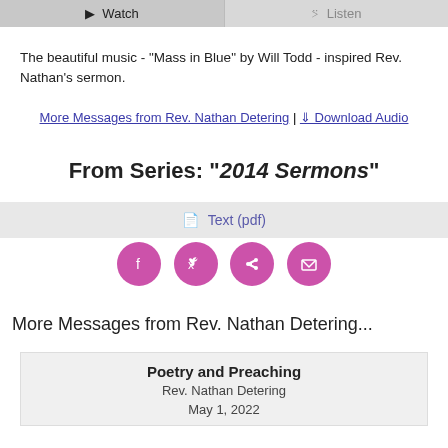[Figure (screenshot): Two buttons: Watch and Listen at top of page]
The beautiful music - "Mass in Blue" by Will Todd - inspired Rev. Nathan's sermon.
More Messages from Rev. Nathan Detering | Download Audio
From Series: "2014 Sermons"
Text (pdf)
[Figure (infographic): Four pink/purple social sharing circles: Facebook, Twitter, Share, Email]
More Messages from Rev. Nathan Detering...
Poetry and Preaching
Rev. Nathan Detering
May 1, 2022